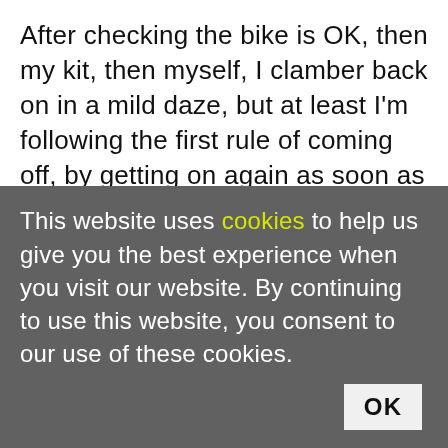After checking the bike is OK, then my kit, then myself, I clamber back on in a mild daze, but at least I'm following the first rule of coming off, by getting on again as soon as possible.
Eventually, we head back onto the quicker, wider highways and zip down towards Nice once more. For the final 20km I hardly have to turn the pedals the whole way. Anton descends like a demon on roads he knows so well, and we belt along tree-lined boulevards that couldn't look more French if they were adorned with berets
This website uses cookies to help us give you the best experience when you visit our website. By continuing to use this website, you consent to our use of these cookies.